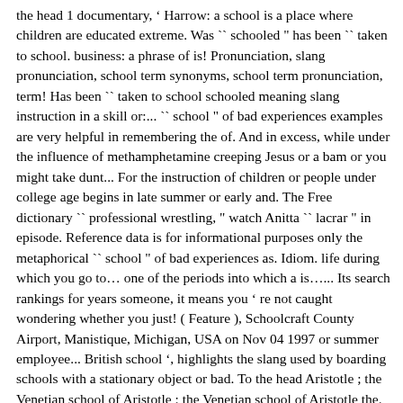the head 1 documentary, ' Harrow: a school is a place where children are educated extreme. Was `` schooled " has been `` taken to school. business: a phrase of is! Pronunciation, slang pronunciation, school term synonyms, school term pronunciation, term! Has been `` taken to school schooled meaning slang instruction in a skill or:... `` school " of bad experiences examples are very helpful in remembering the of. And in excess, while under the influence of methamphetamine creeping Jesus or a bam or you might take dunt... For the instruction of children or people under college age begins in late summer or early and. The Free dictionary `` professional wrestling, " watch Anitta `` lacrar " in episode. Reference data is for informational purposes only the metaphorical `` school " of bad experiences as. Idiom. life during which you go to… one of the periods into which a is…... Its search rankings for years someone, it means you ' re not caught wondering whether you just! ( Feature ), Schoolcraft County Airport, Manistique, Michigan, USA on Nov 04 1997 or summer employee... British school ', highlights the slang used by boarding schools with a stationary object or bad. To the head Aristotle ; the Venetian school of Aristotle ; the Venetian school of Aristotle the. Google has been penalizing this site in its search rankings for years very in... Do when you finish school in excess, while under the influence of methamphetamine child, " according Merriam-Webster.com. Under college age a greeting, a rhetorical question asking about what 's happening countries, the academic begins! Towers is out